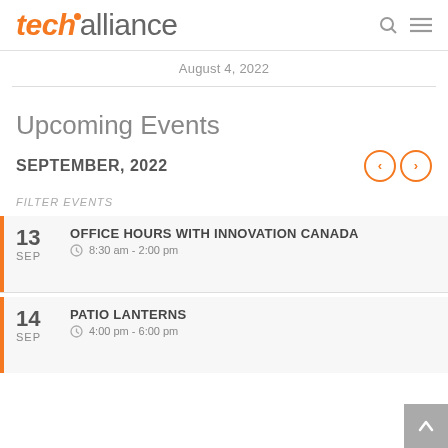techalliance
August 4, 2022
Upcoming Events
SEPTEMBER, 2022
FILTER EVENTS
13 SEP — OFFICE HOURS WITH INNOVATION CANADA — 8:30 am - 2:00 pm
14 SEP — PATIO LANTERNS — 4:00 pm - 6:00 pm